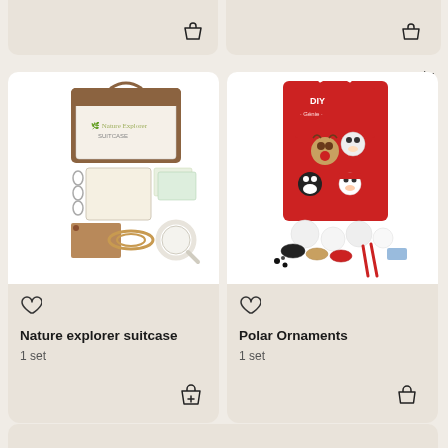[Figure (screenshot): E-commerce product listing page showing two product cards: 'Nature explorer suitcase' (1 set) and 'Polar Ornaments' (1 set), each with product images, heart/wishlist icon, and add-to-cart icon. Top of page shows partial product cards from previous row with cart icons, and a back-navigation arrow.]
Nature explorer suitcase
1 set
Polar Ornaments
1 set